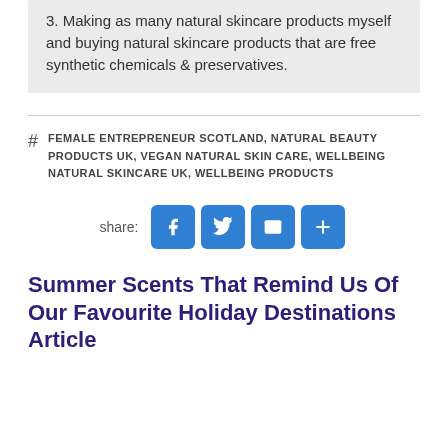3. Making as many natural skincare products myself and buying natural skincare products that are free synthetic chemicals & preservatives.
FEMALE ENTREPRENEUR SCOTLAND, NATURAL BEAUTY PRODUCTS UK, VEGAN NATURAL SKIN CARE, WELLBEING NATURAL SKINCARE UK, WELLBEING PRODUCTS
[Figure (other): Social share buttons: Facebook (f icon), Twitter (bird icon), Email (envelope icon), Add/Share (plus icon)]
Summer Scents That Remind Us Of Our Favourite Holiday Destinations Article